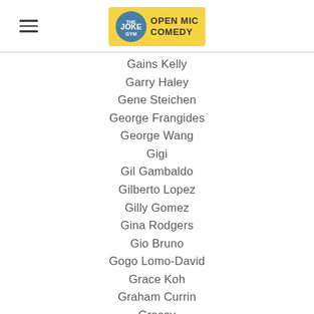The Joke Gym Open Mic Comedy
Gains Kelly
Garry Haley
Gene Steichen
George Frangides
George Wang
Gigi
Gil Gambaldo
Gilberto Lopez
Gilly Gomez
Gina Rodgers
Gio Bruno
Gogo Lomo-David
Grace Koh
Graham Currin
Grassy
Greg Sanchez
Greg Stone